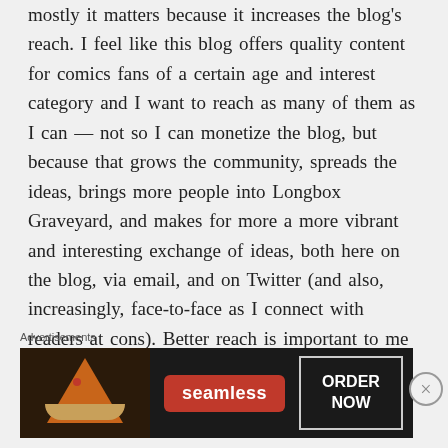mostly it matters because it increases the blog's reach. I feel like this blog offers quality content for comics fans of a certain age and interest category and I want to reach as many of them as I can — not so I can monetize the blog, but because that grows the community, spreads the ideas, brings more people into Longbox Graveyard, and makes for more a more vibrant and interesting exchange of ideas, both here on the blog, via email, and on Twitter (and also, increasingly, face-to-face as I connect with readers at cons). Better reach is important to me not so much as a
Advertisements
[Figure (other): Seamless food delivery advertisement banner showing pizza slices on dark background with Seamless logo in red and ORDER NOW button]